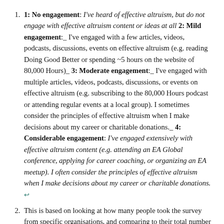1: No engagement: I've heard of effective altruism, but do not engage with effective altruism content or ideas at all 2: Mild engagement:_ I've engaged with a few articles, videos, podcasts, discussions, events on effective altruism (e.g. reading Doing Good Better or spending ~5 hours on the website of 80,000 Hours)_ 3: Moderate engagement:_ I've engaged with multiple articles, videos, podcasts, discussions, or events on effective altruism (e.g. subscribing to the 80,000 Hours podcast or attending regular events at a local group). I sometimes consider the principles of effective altruism when I make decisions about my career or charitable donations._ 4: Considerable engagement: I've engaged extensively with effective altruism content (e.g. attending an EA Global conference, applying for career coaching, or organizing an EA meetup). I often consider the principles of effective altruism when I make decisions about my career or charitable donations. ↩
This is based on looking at how many people took the survey from specific organisations, and comparing to their total number of employees. It's also based on an informal poll of CEA staff. ↩